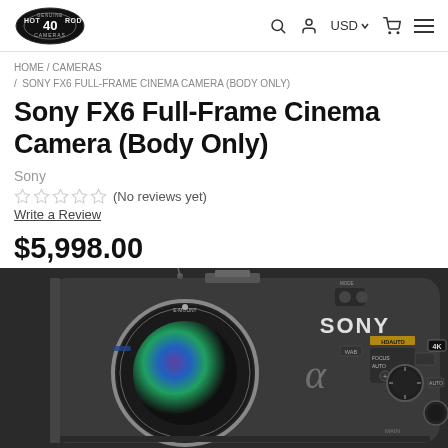Hot Rod Cameras – USD – navigation icons
HOME / CAMERAS / SONY FX6 FULL-FRAME CINEMA CAMERA (BODY ONLY)
Sony FX6 Full-Frame Cinema Camera (Body Only)
Sony
☆☆☆☆☆ (No reviews yet)
Write a Review
$5,998.00
[Figure (photo): Sony FX6 Full-Frame Cinema Camera body, front-right angle view showing lens mount, alpha logo, SONY branding, FOCUS AUTO and 4K labels, and various control buttons and dials.]